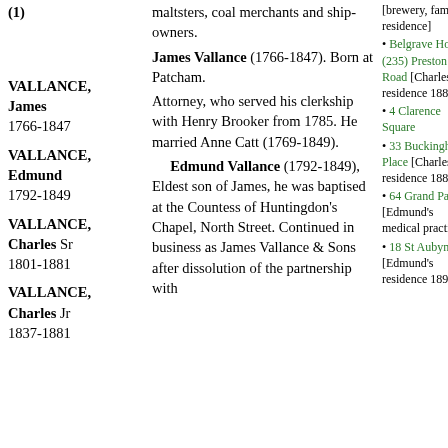(1)
maltsters, coal merchants and ship-owners.
VALLANCE, James 1766-1847
James Vallance (1766-1847). Born at Patcham.
VALLANCE, Edmund 1792-1849
Attorney, who served his clerkship with Henry Brooker from 1785. He married Anne Catt (1769-1849).
VALLANCE, Charles Sr 1801-1881
Edmund Vallance (1792-1849), Eldest son of James, he was baptised at the Countess of Huntingdon's Chapel, North Street. Continued in business as James Vallance & Sons after dissolution of the partnership with
VALLANCE, Charles Jr 1837-1881
[brewery, family residence]
Belgrave House, (235) Preston Road [Charles's residence 1881]
4 Clarence Square
33 Buckingham Place [Charles jr's residence 1881]
64 Grand Parade [Edmund's medical practice]
18 St Aubyns [Edmund's residence 1891]